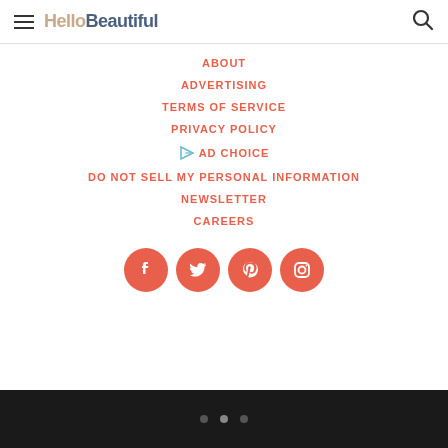HelloBeautiful
ABOUT
ADVERTISING
TERMS OF SERVICE
PRIVACY POLICY
AD CHOICE
DO NOT SELL MY PERSONAL INFORMATION
NEWSLETTER
CAREERS
[Figure (infographic): Social media icons row: Facebook, Twitter, Pinterest, Instagram — coral colored circles]
Pagination dots